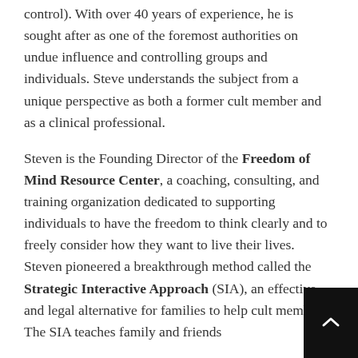control). With over 40 years of experience, he is sought after as one of the foremost authorities on undue influence and controlling groups and individuals. Steve understands the subject from a unique perspective as both a former cult member and as a clinical professional.
Steven is the Founding Director of the Freedom of Mind Resource Center, a coaching, consulting, and training organization dedicated to supporting individuals to have the freedom to think clearly and to freely consider how they want to live their lives. Steven pioneered a breakthrough method called the Strategic Interactive Approach (SIA), an effective and legal alternative for families to help cult members. The SIA teaches family and friends